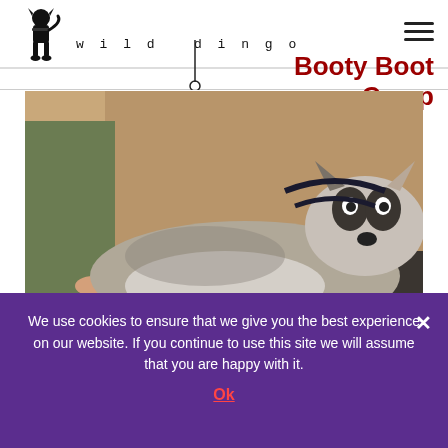[Figure (logo): Wild Dingo logo: black silhouette of a dog sitting, with the text 'wild dingo' in spaced lettering, and a leash graphic below]
Booty Boot Camp
[Figure (photo): A husky dog lying on a veterinary exam table, with a person in green pants standing behind it in a clinic setting]
We use cookies to ensure that we give you the best experience on our website. If you continue to use this site we will assume that you are happy with it.
Ok